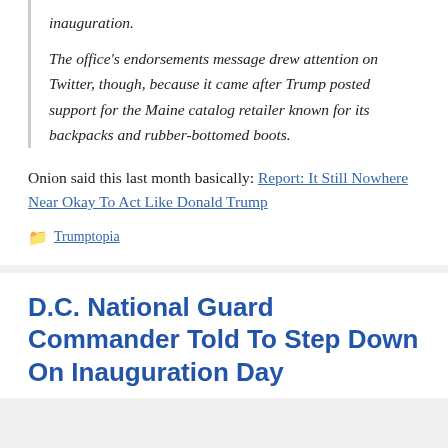inauguration.
The office's endorsements message drew attention on Twitter, though, because it came after Trump posted support for the Maine catalog retailer known for its backpacks and rubber-bottomed boots.
Onion said this last month basically: Report: It Still Nowhere Near Okay To Act Like Donald Trump
Trumptopia
D.C. National Guard Commander Told To Step Down On Inauguration Day